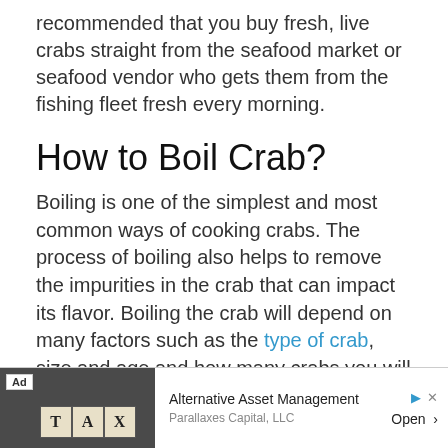recommended that you buy fresh, live crabs straight from the seafood market or seafood vendor who gets them from the fishing fleet fresh every morning.
How to Boil Crab?
Boiling is one of the simplest and most common ways of cooking crabs. The process of boiling also helps to remove the impurities in the crab that can impact its flavor. Boiling the crab will depend on many factors such as the type of crab, size and age and how many crabs you will be cooking. Here are the steps of how to boil crab:
[Figure (other): Advertisement banner: Alternative Asset Management, Parallaxes Capital, LLC with TAX letter blocks image and Open button]